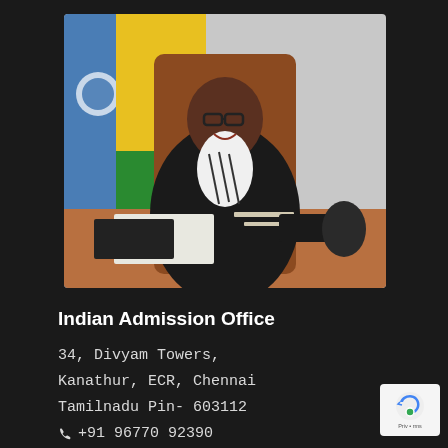[Figure (photo): A woman wearing glasses and a black sweater with a patterned scarf, seated at a desk with papers, a tablet, and a phone. UN flag and another flag visible in the background.]
Indian Admission Office
34, Divyam Towers,
Kanathur, ECR, Chennai
Tamilnadu Pin- 603112
📞 +91 96770 92390
✉ info@saintteresauniversity.org
[Figure (logo): reCAPTCHA badge with Privacy and Terms text]